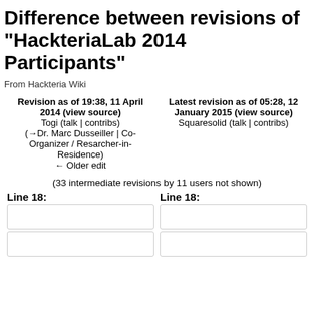Difference between revisions of "HackteriaLab 2014 Participants"
From Hackteria Wiki
| Revision as of 19:38, 11 April 2014 (view source) | Latest revision as of 05:28, 12 January 2015 (view source) |
| --- | --- |
| Togi (talk | contribs) | Squaresolid (talk | contribs) |
| (→Dr. Marc Dusseiller | Co-Organizer / Resarcher-in-Residence) |  |
| ← Older edit |  |
(33 intermediate revisions by 11 users not shown)
Line 18:
Line 18: